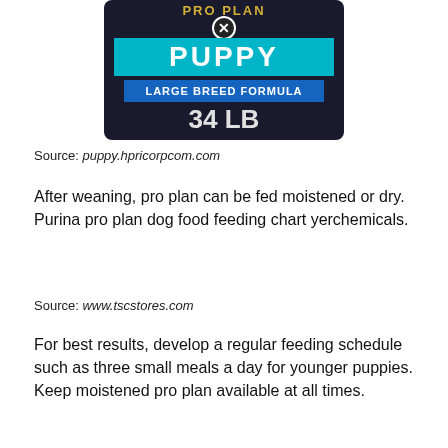[Figure (photo): Purina Pro Plan Puppy Large Breed Formula 34 LB dog food bag label/packaging, dark background with teal/cyan 'PUPPY' banner and 'LARGE BREED FORMULA' text, showing 34 LB weight]
Source: puppy.hpricorpcom.com
After weaning, pro plan can be fed moistened or dry. Purina pro plan dog food feeding chart yerchemicals.
Source: www.tscstores.com
For best results, develop a regular feeding schedule such as three small meals a day for younger puppies. Keep moistened pro plan available at all times.